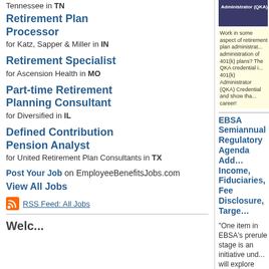Tennessee in TN
Retirement Plan Processor for Katz, Sapper & Miller in IN
Retirement Specialist for Ascension Health in MO
Part-time Retirement Planning Consultant for Diversified in IL
Defined Contribution Pension Analyst for United Retirement Plan Consultants in TX
Post Your Job on EmployeeBenefitsJobs.com
View All Jobs
RSS Feed: All Jobs
EBSA Semiannual Regulatory Agenda Addresses Lifetime Income, Fiduciaries, Fee Disclosure, Targe...
"One item in EBSA's prerule stage is an initiative under which it will explore whether, and how, an individual benefit statement can present a participant's accrued benefits in a defined contribution (individual's account balance) as a lifetime income str... presenting the benefits as an account balance." (Wo...
2013 Compliance Calendar for Calendar Year Retirement Plans
"The calendar captures important filing and plan notifications to be referenced by plan sponsors throughout the calendar year, and can help keep track of important deadlines and qualified p...
(October Three)
The Impact of Moody's Proposed Changes to Government Pension Data
"[Six] Bay Area, North Coast, California counties that...